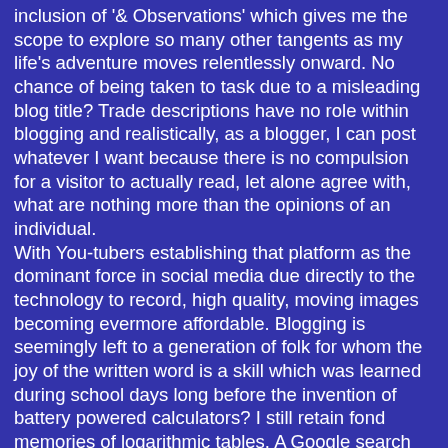inclusion of '& Observations' which gives me the scope to explore so many other tangents as my life's adventure moves relentlessly onward. No chance of being taken to task due to a misleading blog title? Trade descriptions have no role within blogging and realistically, as a blogger, I can post whatever I want because there is no compulsion for a visitor to actually read, let alone agree with, what are nothing more than the opinions of an individual. With You-tubers establishing that platform as the dominant force in social media due directly to the technology to record, high quality, moving images becoming evermore affordable. Blogging is seemingly left to a generation of folk for whom the joy of the written word is a skill which was learned during school days long before the invention of battery powered calculators? I still retain fond memories of logarithmic tables. A Google search might be required by those same You-tubers to understand what I'm speaking about? Blogging is, in cyber terms, the Jurassic Park of this computer driven age. Bloggers being the dinosaurs who hang on to that ability to communicate via the use of the written word in a world where txt speech is everything and the complete opposite to why our skills with English, and basic